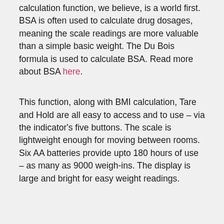calculation function, we believe, is a world first. BSA is often used to calculate drug dosages, meaning the scale readings are more valuable than a simple basic weight. The Du Bois formula is used to calculate BSA. Read more about BSA here.
This function, along with BMI calculation, Tare and Hold are all easy to access and to use – via the indicator's five buttons. The scale is lightweight enough for moving between rooms. Six AA batteries provide upto 180 hours of use – as many as 9000 weigh-ins. The display is large and bright for easy weight readings.